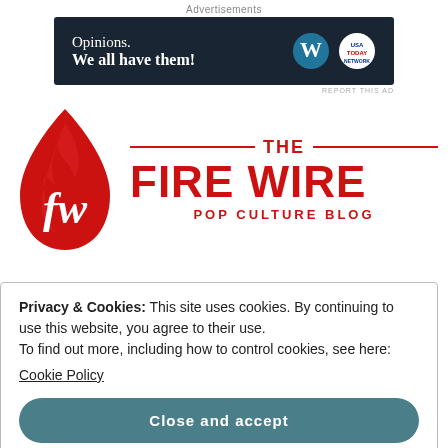Advertisements
[Figure (infographic): Dark navy ad banner reading 'Opinions. We all have them!' with WordPress and USA Today logos]
REPORT THIS AD
[Figure (logo): The Fire Wire Pop Culture Blog logo — red flame/drop shape with cursive 'fw' inside, beside large red text THE FIRE WIRE and subtitle POP CULTURE BLOG]
Privacy & Cookies: This site uses cookies. By continuing to use this website, you agree to their use.
To find out more, including how to control cookies, see here:
Cookie Policy
Close and accept